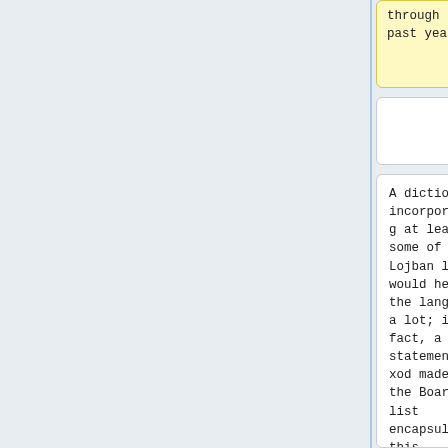through the past year.
past year.
A dictionary incorporating at least some of this Lojban lore would help the language a lot; in fact, a statement xod made on the Board list encapsulates this sentiment well:
A dictionary incorporating at least some of this Lojban lore would help the language a lot; in fact, a statement xod made on the Board list encapsulates this sentiment well: